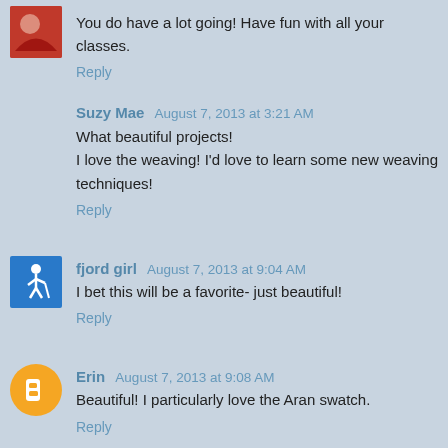You do have a lot going! Have fun with all your classes.
Reply
Suzy Mae  August 7, 2013 at 3:21 AM
What beautiful projects!
I love the weaving! I'd love to learn some new weaving techniques!
Reply
fjord girl  August 7, 2013 at 9:04 AM
I bet this will be a favorite- just beautiful!
Reply
Erin  August 7, 2013 at 9:08 AM
Beautiful! I particularly love the Aran swatch.
Reply